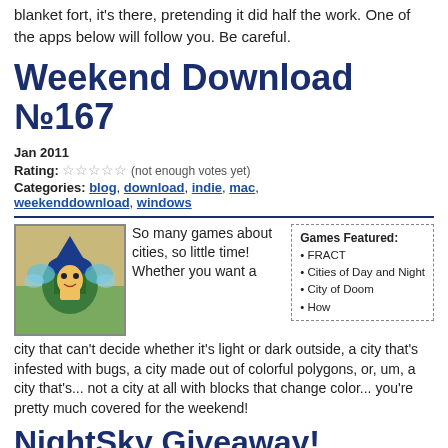blanket fort, it's there, pretending it did half the work. One of the apps below will follow you. Be careful.
Weekend Download №167
Jan 2011
Rating: ☆☆☆☆☆ (not enough votes yet)
Categories: blog, download, indie, mac, weekenddownload, windows
[Figure (illustration): Pixel art character: a small wizard/ninja figure with a blue hat and green outfit, with blue smoke effects on a tan/green background.]
So many games about cities, so little time! Whether you want a city that can't decide whether it's light or dark outside, a city that's infested with bugs, a city made out of colorful polygons, or, um, a city that's... not a city at all with blocks that change color... you're pretty much covered for the weekend!
Games Featured:
• FRACT
• Cities of Day and Night
• City of Doom
• How
NightSky Giveaway!